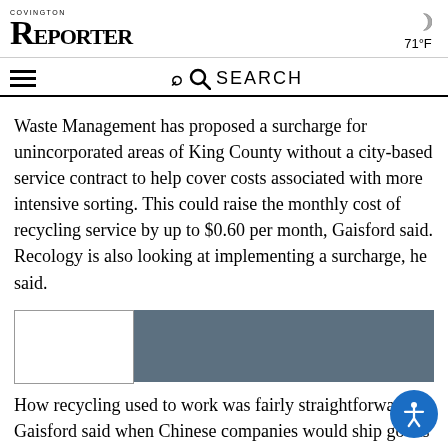COVINGTON REPORTER — 71°F
Waste Management has proposed a surcharge for unincorporated areas of King County without a city-based service contract to help cover costs associated with more intensive sorting. This could raise the monthly cost of recycling service by up to $0.60 per month, Gaisford said. Recology is also looking at implementing a surcharge, he said.
[Figure (photo): A partially redacted or blurred image with a white box on the left and a dark grey/slate colored rectangle on the right.]
How recycling used to work was fairly straightforward. Gaisford said when Chinese companies would ship goods such as iPhones to the